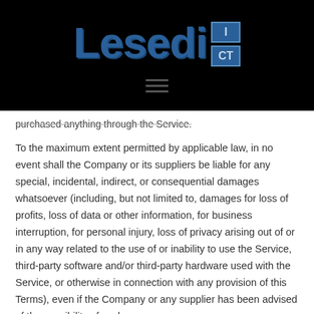[Figure (logo): Lesedi ICT company logo on black background with hamburger menu icon below]
purchased anything through the Service.
To the maximum extent permitted by applicable law, in no event shall the Company or its suppliers be liable for any special, incidental, indirect, or consequential damages whatsoever (including, but not limited to, damages for loss of profits, loss of data or other information, for business interruption, for personal injury, loss of privacy arising out of or in any way related to the use of or inability to use the Service, third-party software and/or third-party hardware used with the Service, or otherwise in connection with any provision of this Terms), even if the Company or any supplier has been advised of the possibility of such damages and even if the remedy fails of its essential